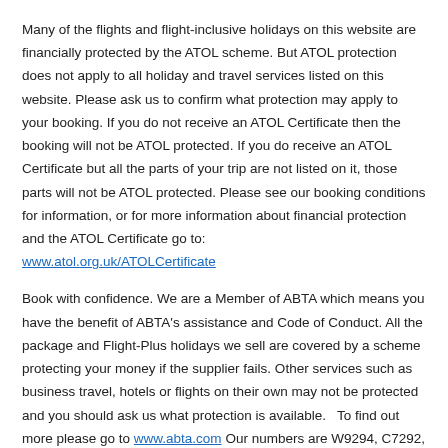Many of the flights and flight-inclusive holidays on this website are financially protected by the ATOL scheme. But ATOL protection does not apply to all holiday and travel services listed on this website. Please ask us to confirm what protection may apply to your booking. If you do not receive an ATOL Certificate then the booking will not be ATOL protected. If you do receive an ATOL Certificate but all the parts of your trip are not listed on it, those parts will not be ATOL protected. Please see our booking conditions for information, or for more information about financial protection and the ATOL Certificate go to: www.atol.org.uk/ATOLCertificate
Book with confidence. We are a Member of ABTA which means you have the benefit of ABTA's assistance and Code of Conduct. All the package and Flight-Plus holidays we sell are covered by a scheme protecting your money if the supplier fails. Other services such as business travel, hotels or flights on their own may not be protected and you should ask us what protection is available.   To find out more please go to www.abta.com Our numbers are W9294, C7292, J2696.
The air holiday packages advertised on this website are ATOL Protected by the Civil Aviation Authority, as we act as an agent for licensed tour operators and we can ATOL protect our own tailor made itineraries for you. The names and ATOL numbers of each tour